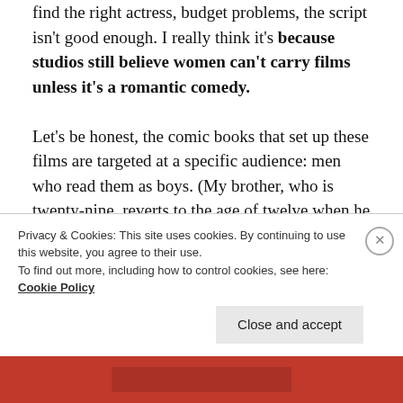find the right actress, budget problems, the script isn't good enough. I really think it's because studios still believe women can't carry films unless it's a romantic comedy.

Let's be honest, the comic books that set up these films are targeted at a specific audience: men who read them as boys. (My brother, who is twenty-nine, reverts to the age of twelve when he hears of a comic book movie being released.) The studios tend to (mostly) stick with the original source material, which is often from the time between the forties and
Privacy & Cookies: This site uses cookies. By continuing to use this website, you agree to their use.
To find out more, including how to control cookies, see here: Cookie Policy
Close and accept